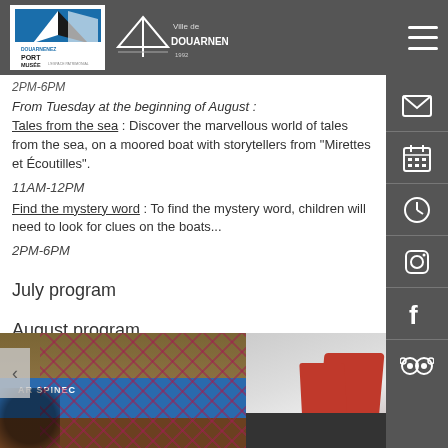Port-Musée Douarnenez / Ville de Douarnenez
2PM-6PM
From Tuesday at the beginning of August : Tales from the sea : Discover the marvellous world of tales from the sea, on a moored boat with storytellers from "Mirettes et Écoutilles".
11AM-12PM
Find the mystery word : To find the mystery word, children will need to look for clues on the boats...
2PM-6PM
July program
August program
[Figure (photo): Photo of a person handling red fishing nets beside a blue boat named AR SPINEC]
[Figure (photo): Photo showing red fabric or sails near a dark vehicle or structure]